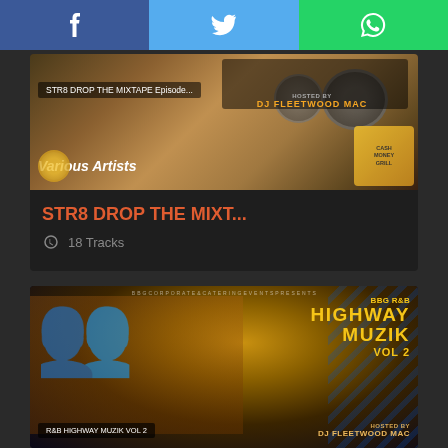[Figure (infographic): Social media share bar with Facebook, Twitter, and WhatsApp buttons]
[Figure (photo): Mixtape cover art for STR8 DROP THE MIXTAPE Episode, Hosted by DJ Fleetwood Mac, Various Artists]
STR8 DROP THE MIXT...
18 Tracks
[Figure (photo): Mixtape cover art for R&B HIGHWAY MUZIK VOL 2, BBG R&B Highway Muzik Vol 2, Hosted by DJ Fleetwood Mac, BBG Corporate & Catering Events Presents]